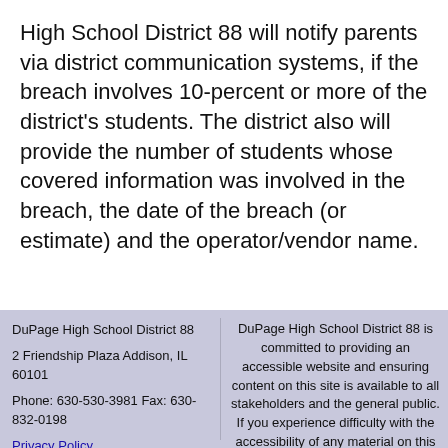High School District 88 will notify parents via district communication systems, if the breach involves 10-percent or more of the district's students. The district also will provide the number of students whose covered information was involved in the breach, the date of the breach (or estimate) and the operator/vendor name.
DuPage High School District 88
2 Friendship Plaza Addison, IL 60101
Phone: 630-530-3981 Fax: 630-832-0198
Privacy Policy

DuPage High School District 88 is committed to providing an accessible website and ensuring content on this site is available to all stakeholders and the general public. If you experience difficulty with the accessibility of any material on this website and its associated pages, please go to dupage88.net/Accessibility